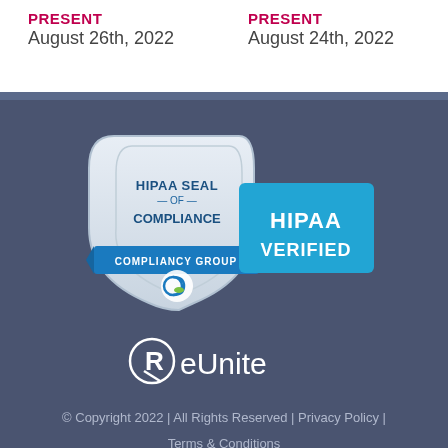PRESENT
August 26th, 2022
PRESENT
August 24th, 2022
[Figure (logo): HIPAA Seal of Compliance badge with shield design and 'HIPAA VERIFIED' label from Compliancy Group]
[Figure (logo): ReUnite logo with stylized R icon]
© Copyright 2022 | All Rights Reserved | Privacy Policy | Terms & Conditions Powered By viralMD